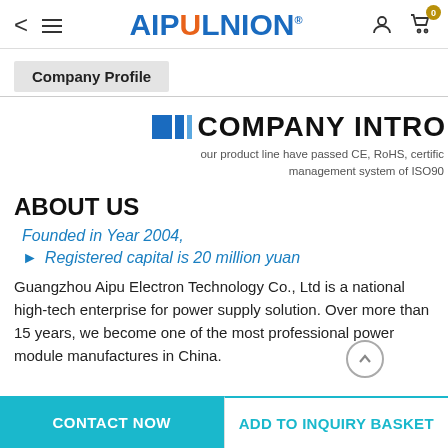AIPULNION® — navigation header with back, menu, logo, user, cart (0)
Company Profile
COMPANY INTRO
our product line have passed CE, RoHS, certifications and has passed the quality management system of ISO90...
ABOUT US
Founded in Year 2004,
Registered capital is 20 million yuan
Guangzhou Aipu Electron Technology Co., Ltd is a national high-tech enterprise for power supply solution. Over more than 15 years, we become one of the most professional power module manufactures in China.
CONTACT NOW | ADD TO INQUIRY BASKET